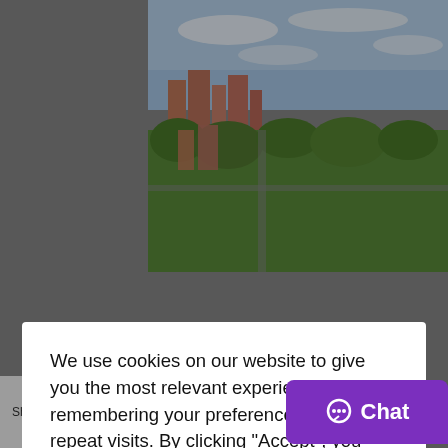[Figure (photo): Aerial view of a city with buildings, green trees and sky]
know where to look for them.
Now let me also in this great article list some of the best areas to live in or invest in this great city.
[Figure (other): Cookie consent modal dialog with text: We use cookies on our website to give you the most relevant experience by remembering your preferences and repeat visits. By clicking “Accept”, you consent to the use of ALL the cookies. Buttons: Cookie settings, ACCEPT]
[Figure (other): Flag icons row: Taiwan, UK, France, Italy, Portugal, Spain]
[Figure (other): Social share bar with Facebook, WhatsApp, Twitter, LinkedIn, Pinterest icons and Shares label]
[Figure (other): Chat bubble button in purple]